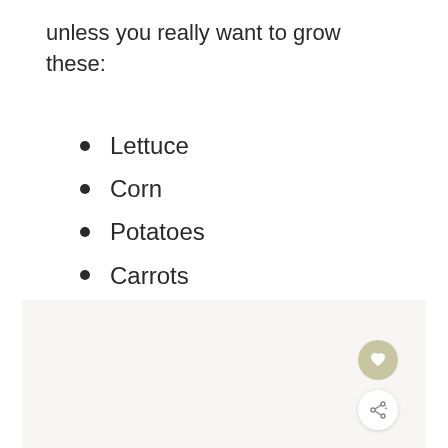unless you really want to grow these:
Lettuce
Corn
Potatoes
Carrots
[Figure (other): Light gray content placeholder box with a heart icon button and a share icon button on the bottom right]